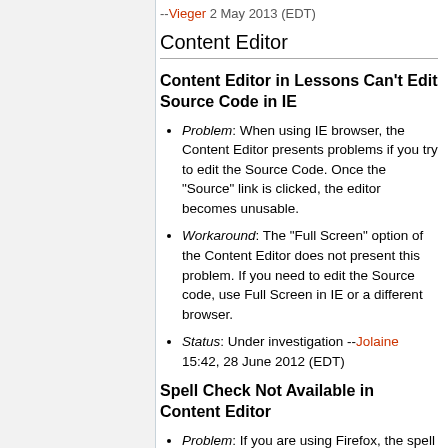--Vieger 2 May 2013 (EDT)
Content Editor
Content Editor in Lessons Can't Edit Source Code in IE
Problem: When using IE browser, the Content Editor presents problems if you try to edit the Source Code. Once the "Source" link is clicked, the editor becomes unusable.
Workaround: The "Full Screen" option of the Content Editor does not present this problem. If you need to edit the Source code, use Full Screen in IE or a different browser.
Status: Under investigation --Jolaine 15:42, 28 June 2012 (EDT)
Spell Check Not Available in Content Editor
Problem: If you are using Firefox, the spell check icon will be grayed out. IE will